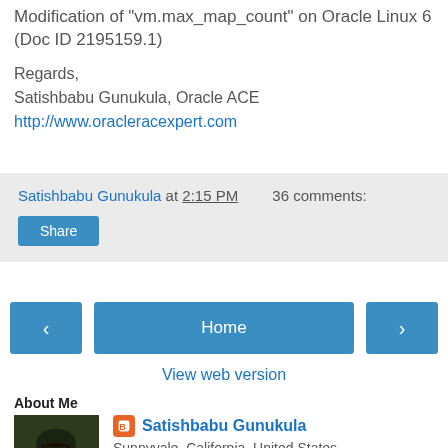Modification of "vm.max_map_count" on Oracle Linux 6 (Doc ID 2195159.1)
Regards,
Satishbabu Gunukula, Oracle ACE
http://www.oracleracexpert.com
Satishbabu Gunukula at 2:15 PM    36 comments:
Share
‹
Home
›
View web version
About Me
[Figure (photo): Profile photo of Satishbabu Gunukula]
Satishbabu Gunukula
Sunnyvale, California, United States
I have been working with Database technologies for over 20+ years, specialized in High Availability